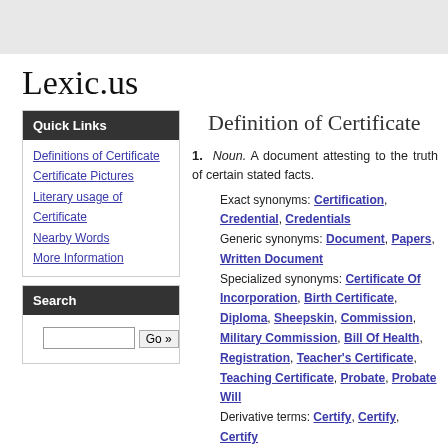Lexic.us
Quick Links
Definitions of Certificate
Certificate Pictures
Literary usage of Certificate
Nearby Words
More Information
Search
Definition of Certificate
1. Noun. A document attesting to the truth of certain stated facts.
Exact synonyms: Certification, Credential, Credentials
Generic synonyms: Document, Papers, Written Document
Specialized synonyms: Certificate Of Incorporation, Birth Certificate, Diploma, Sheepskin, Commission, Military Commission, Bill Of Health, Registration, Teacher's Certificate, Teaching Certificate, Probate, Probate Will
Derivative terms: Certify, Certify, Certify